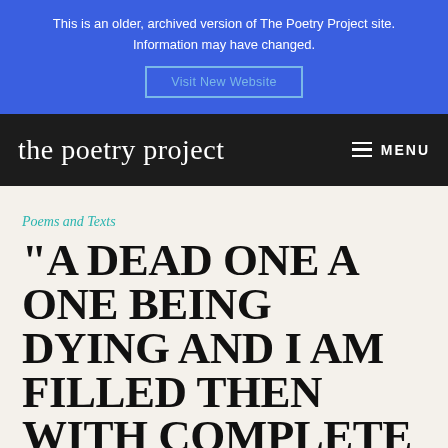This is an older, archived version of The Poetry Project site. Information may have changed.
Visit New Website
the poetry project  MENU
Poems and Texts
“A DEAD ONE A ONE BEING DYING AND I AM FILLED THEN WITH COMPLETE DESO…